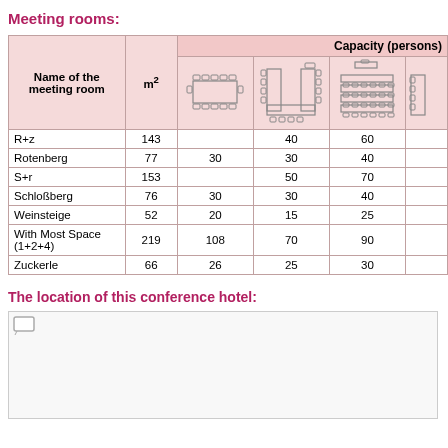Meeting rooms:
| Name of the meeting room | m² | [boardroom] | [U-shape] | [classroom] | [partial] |
| --- | --- | --- | --- | --- | --- |
| R+z | 143 |  | 40 | 60 |  |
| Rotenberg | 77 | 30 | 30 | 40 |  |
| S+r | 153 |  | 50 | 70 |  |
| Schloßberg | 76 | 30 | 30 | 40 |  |
| Weinsteige | 52 | 20 | 15 | 25 |  |
| With Most Space (1+2+4) | 219 | 108 | 70 | 90 |  |
| Zuckerle | 66 | 26 | 25 | 30 |  |
The location of this conference hotel:
[Figure (map): Map showing the location of the conference hotel]